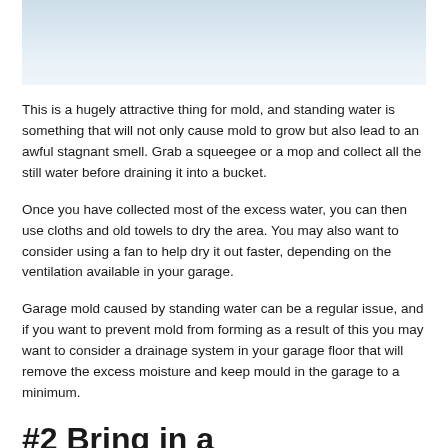[Figure (photo): Light blue/grey gradient image at the top of the page, likely showing a garage or water-related scene]
This is a hugely attractive thing for mold, and standing water is something that will not only cause mold to grow but also lead to an awful stagnant smell. Grab a squeegee or a mop and collect all the still water before draining it into a bucket.
Once you have collected most of the excess water, you can then use cloths and old towels to dry the area. You may also want to consider using a fan to help dry it out faster, depending on the ventilation available in your garage.
Garage mold caused by standing water can be a regular issue, and if you want to prevent mold from forming as a result of this you may want to consider a drainage system in your garage floor that will remove the excess moisture and keep mould in the garage to a minimum.
#2 Bring in a